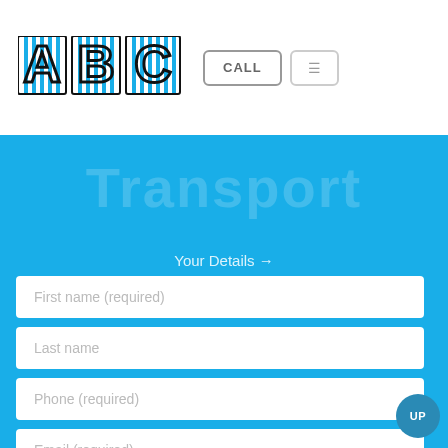[Figure (logo): ABC logo in blue and black block letters with striped/grid fill pattern]
CALL
≡
Transport
Your Details →
First name (required)
Last name
Phone (required)
Email (required)
UP